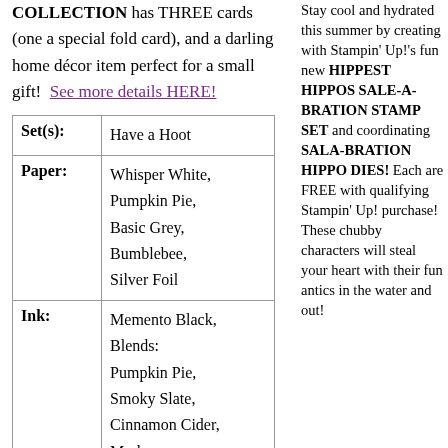COLLECTION has THREE cards (one a special fold card), and a darling home décor item perfect for a small gift!  See more details HERE!
| Label | Value |
| --- | --- |
| Set(s): | Have a Hoot |
| Paper: | Whisper White, Pumpkin Pie, Basic Grey, Bumblebee, Silver Foil |
| Ink: | Memento Black, Blends: Pumpkin Pie, Smoky Slate, Cinnamon Cider, Markers: |
Stay cool and hydrated this summer by creating with Stampin' Up!'s fun new HIPPEST HIPPOS SALE-A-BRATION STAMP SET and coordinating SALA-BRATION HIPPO DIES! Each are FREE with qualifying Stampin' Up! purchase!  These chubby characters will steal your heart with their fun antics in the water and out!